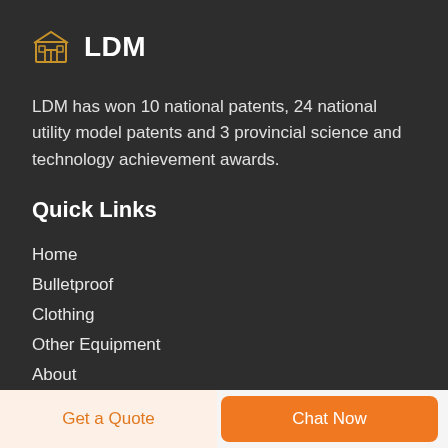LDM
LDM has won 10 national patents, 24 national utility model patents and 3 provincial science and technology achievement awards.
Quick Links
Home
Bulletproof
Clothing
Other Equipment
About
Get a Quote | Chat Now